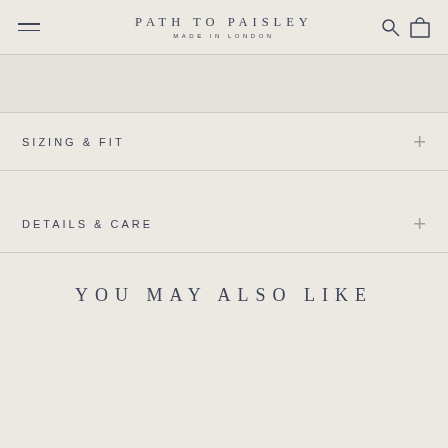PATH TO PAISLEY / MADE IN LONDON
SIZING & FIT
DETAILS & CARE
YOU MAY ALSO LIKE